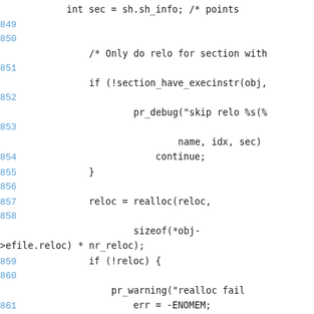[Figure (screenshot): Source code listing showing C code lines 849-864, including section relocation logic with realloc, pr_debug, pr_warning, and error handling.]